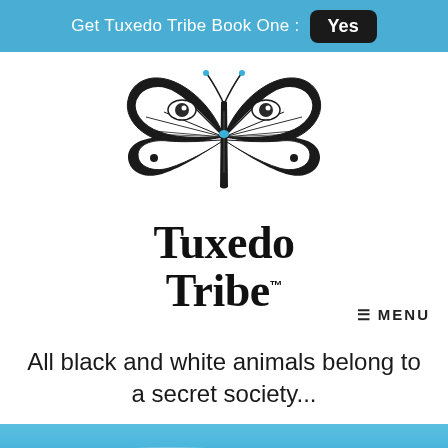Get Tuxedo Tribe Book One : Yes
[Figure (logo): Tuxedo Tribe logo: a black and white butterfly with eye-like patterns on wings, above the text 'Tuxedo Tribe™' in serif font]
≡ MENU
All black and white animals belong to a secret society...
[Figure (illustration): Blue water/sky background at bottom of page with ripple/reflection effects]